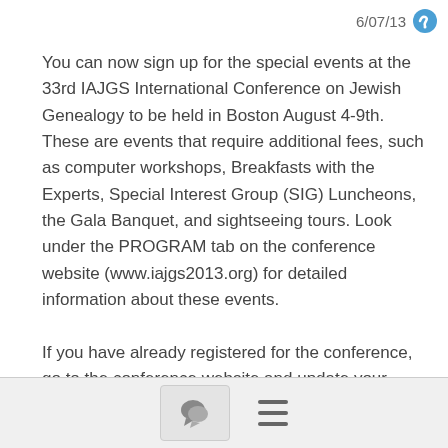6/07/13
You can now sign up for the special events at the 33rd IAJGS International Conference on Jewish Genealogy to be held in Boston August 4-9th. These are events that require additional fees, such as computer workshops, Breakfasts with the Experts, Special Interest Group (SIG) Luncheons, the Gala Banquet, and sightseeing tours. Look under the PROGRAM tab on the conference website (www.iajgs2013.org) for detailed information about these events.

If you have already registered for the conference, go to the conference website and update your registration form (mouse over the
[Figure (screenshot): Bottom navigation bar with comment bubble icon button and hamburger menu icon]